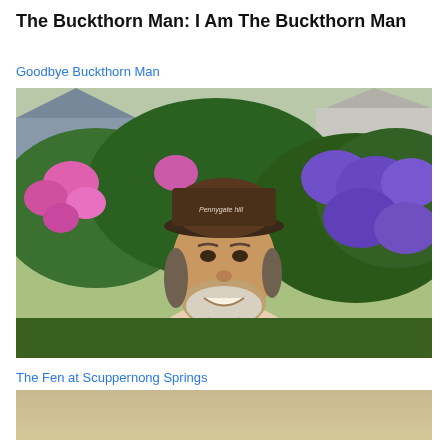The Buckthorn Man: I Am The Buckthorn Man
Goodbye Buckthorn Man
[Figure (photo): Smiling middle-aged man with a dark baseball cap reading 'Pennygate Hill', gray beard, wearing a white tank top, taking a selfie outdoors surrounded by bright pink and purple flowering bushes with green foliage and houses visible in the background.]
The Fen at Scuppernong Springs